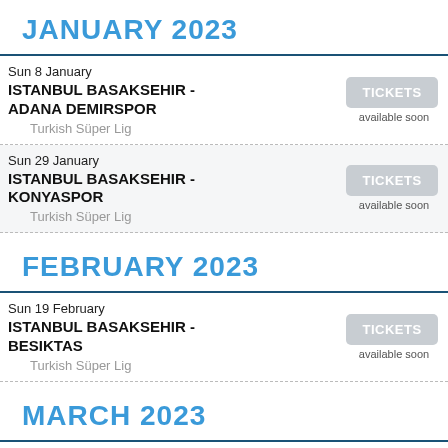JANUARY 2023
Sun 8 January
ISTANBUL BASAKSEHIR - ADANA DEMIRSPOR
Turkish Süper Lig
TICKETS available soon
Sun 29 January
ISTANBUL BASAKSEHIR - KONYASPOR
Turkish Süper Lig
TICKETS available soon
FEBRUARY 2023
Sun 19 February
ISTANBUL BASAKSEHIR - BESIKTAS
Turkish Süper Lig
TICKETS available soon
MARCH 2023
Sun 5 March